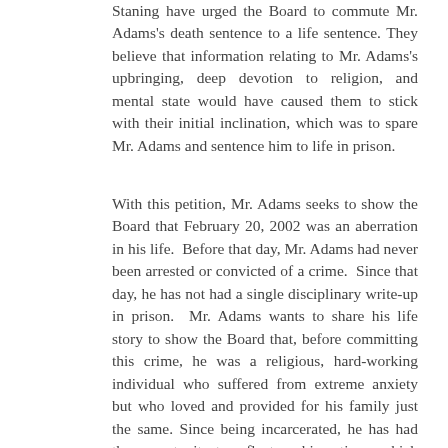Staning have urged the Board to commute Mr. Adams's death sentence to a life sentence. They believe that information relating to Mr. Adams's upbringing, deep devotion to religion, and mental state would have caused them to stick with their initial inclination, which was to spare Mr. Adams and sentence him to life in prison.
With this petition, Mr. Adams seeks to show the Board that February 20, 2002 was an aberration in his life. Before that day, Mr. Adams had never been arrested or convicted of a crime. Since that day, he has not had a single disciplinary write-up in prison. Mr. Adams wants to share his life story to show the Board that, before committing this crime, he was a religious, hard-working individual who suffered from extreme anxiety but who loved and provided for his family just the same. Since being incarcerated, he has had the opportunity to reflect on his actions, which has brought him closer to God and deepened his devotion to Jesus Christ.